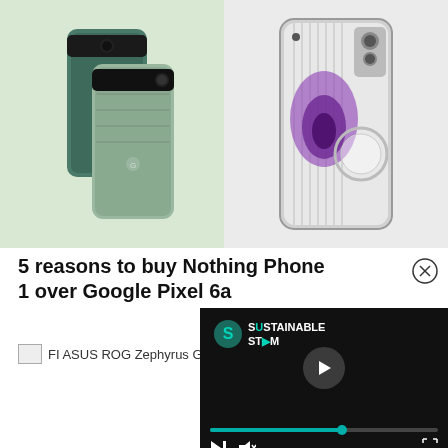[Figure (photo): Two smartphones side by side: left shows Google Pixel 6a in sage green color on a light green background; right shows Nothing Phone 1 with transparent back panel on a light gray background.]
5 reasons to buy Nothing Phone 1 over Google Pixel 6a
[Figure (screenshot): A broken/unloaded image icon labeled 'FI ASUS ROG Zephyrus G14']
[Figure (screenshot): A video player widget with dark background showing 'SUSTAINABLE STREAM' branding with a teal logo, a white play button in the center, a teal progress bar, and playback controls (play/pause, skip, mute, fullscreen).]